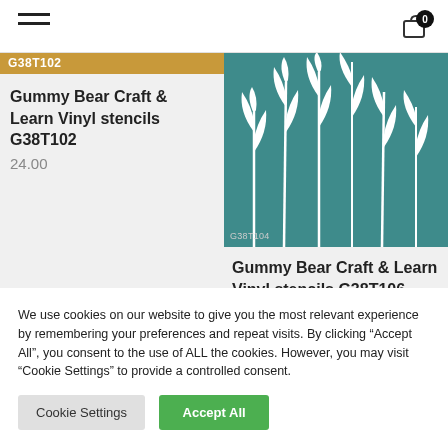[Figure (screenshot): Navigation bar with hamburger menu on left and cart icon with badge '0' on right]
G38T102
Gummy Bear Craft & Learn Vinyl stencils G38T102
24.00
[Figure (illustration): Teal background with white silhouette plants/grass stencil design, labeled G38T104]
Gummy Bear Craft & Learn Vinyl stencils G38T106
We use cookies on our website to give you the most relevant experience by remembering your preferences and repeat visits. By clicking “Accept All”, you consent to the use of ALL the cookies. However, you may visit “Cookie Settings” to provide a controlled consent.